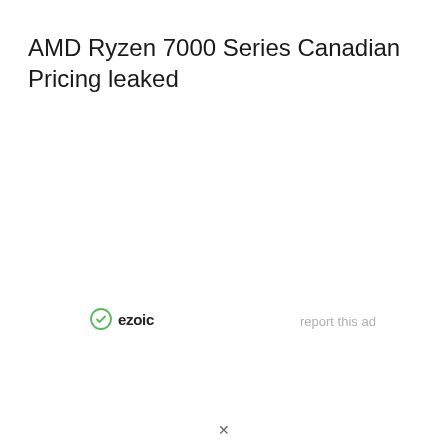AMD Ryzen 7000 Series Canadian Pricing leaked
[Figure (logo): Ezoic logo with green circular icon and bold text 'ezoic', alongside a 'report this ad' link]
report this ad